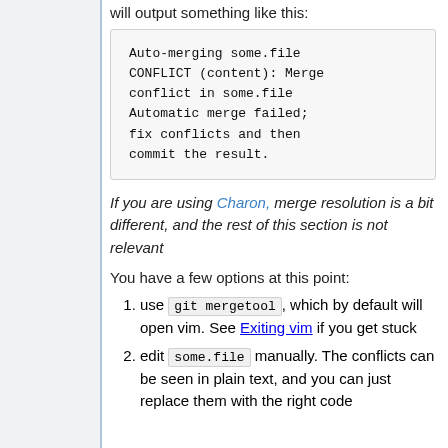will output something like this:
Auto-merging some.file
CONFLICT (content): Merge conflict in some.file
Automatic merge failed; fix conflicts and then commit the result.
If you are using Charon, merge resolution is a bit different, and the rest of this section is not relevant
You have a few options at this point:
use git mergetool, which by default will open vim. See Exiting vim if you get stuck
edit some.file manually. The conflicts can be seen in plain text, and you can just replace them with the right code